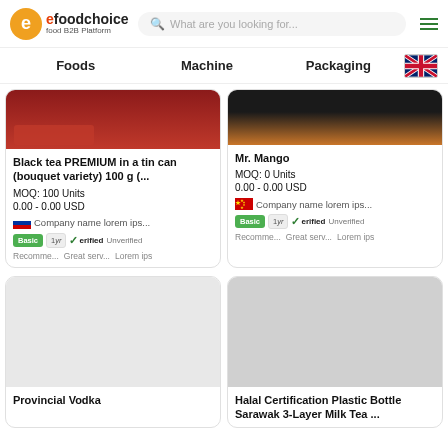efoodchoice food B2B Platform — What are you looking for...
Foods   Machine   Packaging
Black tea PREMIUM in a tin can (bouquet variety) 100 g (...
MOQ: 100 Units
0.00 - 0.00 USD
Company name lorem ips...
Basic  1yr  Verified  Unverified
Recomme...  Great serv...  Lorem ips
Mr. Mango
MOQ: 0 Units
0.00 - 0.00 USD
Company name lorem ips...
Basic  1yr  Verified  Unverified
Recomme...  Great serv...  Lorem ips
Provincial Vodka
Halal Certification Plastic Bottle Sarawak 3-Layer Milk Tea ...